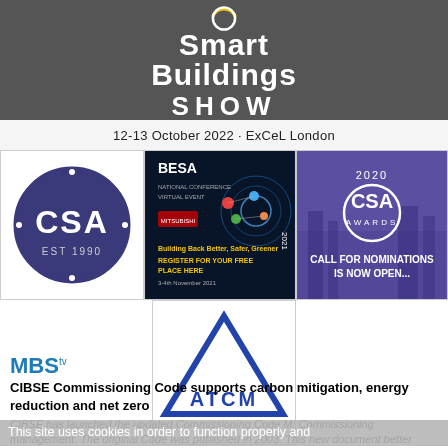[Figure (logo): Smart Buildings Show banner - dark grey background with circular logo and yellow arc, text: Smart Buildings Show, 12-13 October 2022 · ExCeL London]
[Figure (logo): CSA EST 1990 circular logo on white background]
[Figure (logo): BESA National Conference Virtual Event 2021 dark blue poster with Mitsubishi Electric sponsorship]
[Figure (logo): CSA Awards 2020 - Call for Nominations is now open - purple background]
[Figure (logo): ATCM triangle logo in blue on white background]
MBStv
CIBSE Commissioning Code supports carbon mitigation, energy reduction and net zero
CIBSE has launched the updated Commissioning Code M: Commissioning management. The original Code was published in 2003. This new document better represents modern commissioning and reflects current
This site uses cookies in order to function properly and